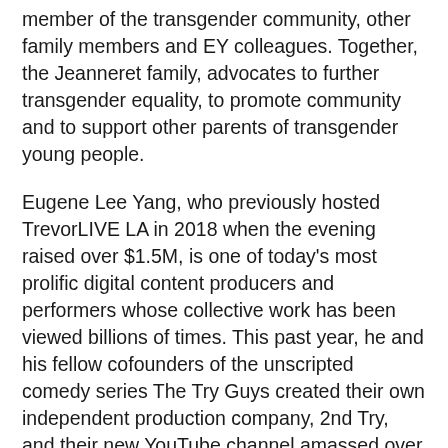member of the transgender community, other family members and EY colleagues. Together, the Jeanneret family, advocates to further transgender equality, to promote community and to support other parents of transgender young people.
Eugene Lee Yang, who previously hosted TrevorLIVE LA in 2018 when the evening raised over $1.5M, is one of today's most prolific digital content producers and performers whose collective work has been viewed billions of times. This past year, he and his fellow cofounders of the unscripted comedy series The Try Guys created their own independent production company, 2nd Try, and their new YouTube channel amassed over 5 million subscribers in 6 months. Together, they hosted the 2018 Streamys where they won Show of the Year, wrote their debut book, The Hidden Power Of F*cking Up, launched their podcast The TryPod, and are embarking on a nationwide live tour - Legends Of The Internet - this summer. Yang is well-known for being a prevalent voice for Asian and LGBTQ representation in the digital space. He also recently made his acting debut, appearing in Brooklyn Nine Nine and in the upcoming indio